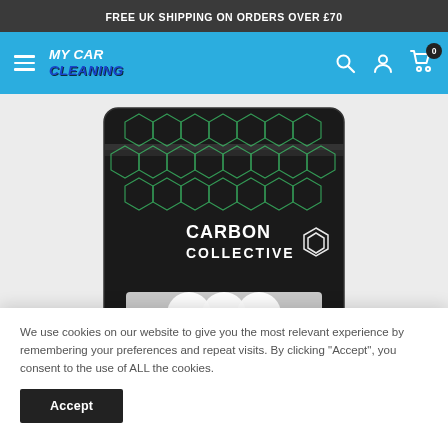FREE UK SHIPPING ON ORDERS OVER £70
[Figure (logo): My Car Cleaning logo with hamburger menu, search, account, and cart icons on a blue navigation bar]
[Figure (photo): Carbon Collective branded black product pouch with green hexagonal pattern and white circular objects visible through clear window at bottom]
We use cookies on our website to give you the most relevant experience by remembering your preferences and repeat visits. By clicking “Accept”, you consent to the use of ALL the cookies.
Accept